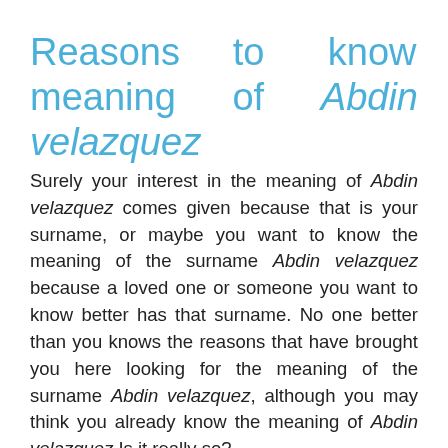Reasons to know the meaning of Abdin velazquez
Surely your interest in the meaning of Abdin velazquez comes given because that is your surname, or maybe you want to know the meaning of the surname Abdin velazquez because a loved one or someone you want to know better has that surname. No one better than you knows the reasons that have brought you here looking for the meaning of the surname Abdin velazquez, although you may think you already know the meaning of Abdin velazquez Is it really so?